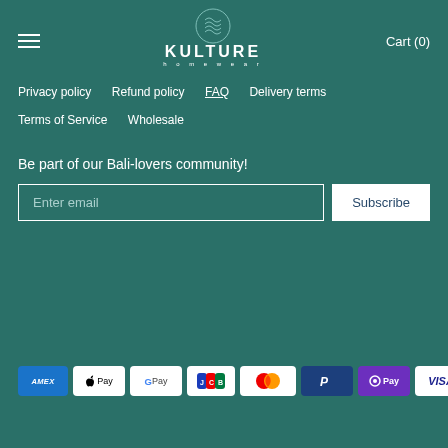KULTURE homewear — Cart (0)
Privacy policy
Refund policy
FAQ
Delivery terms
Terms of Service
Wholesale
Be part of our Bali-lovers community!
[Figure (screenshot): Email subscription form with 'Enter email' input field and 'Subscribe' button]
[Figure (infographic): Payment method icons: American Express, Apple Pay, Google Pay, JCB, Mastercard, PayPal, OPay, Visa]